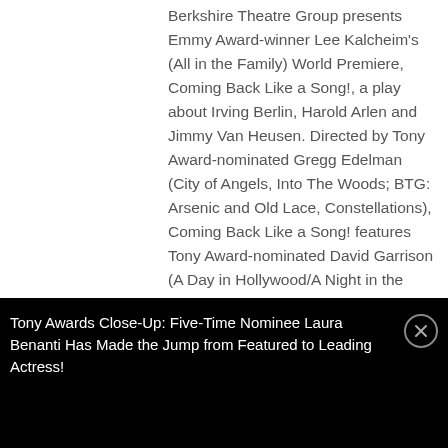Berkshire Theatre Group presents Emmy Award-winner Lee Kalcheim's (All in the Family) World Premiere, Coming Back Like a Song!, a play about Irving Berlin, Harold Arlen and Jimmy Van Heusen. Directed by Tony Award-nominated Gregg Edelman (City of Angels, Into The Woods; BTG: Arsenic and Old Lace, Constellations), Coming Back Like a Song! features Tony Award-nominated David Garrison (A Day in Hollywood/A Night in the Ukraine) as Irving Berlin, Philip Hoffman (Cabaret, Falsettos) as Harold Arlen and Daniel Brooks (Shr...
Tony Awards Close-Up: Five-Time Nominee Laura Benanti Has Made the Jump from Featured to Leading Actress!